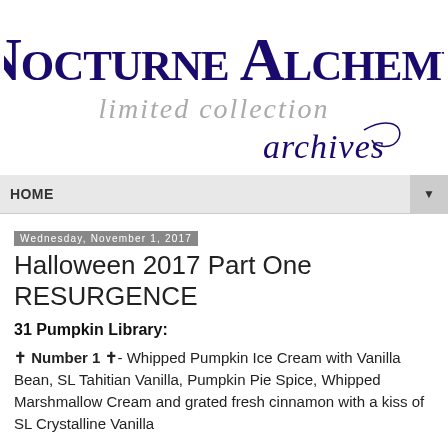[Figure (logo): Nocturne Alchemy limited collection archives logo — dark navy decorative script for 'Nocturne Alchemy', grey serif italic for 'limited collection', and dark navy cursive script for 'archives']
HOME ▼
Wednesday, November 1, 2017
Halloween 2017 Part One RESURGENCE
31 Pumpkin Library:
✝ Number 1 ✝- Whipped Pumpkin Ice Cream with Vanilla Bean, SL Tahitian Vanilla, Pumpkin Pie Spice, Whipped Marshmallow Cream and grated fresh cinnamon with a kiss of SL Crystalline Vanilla